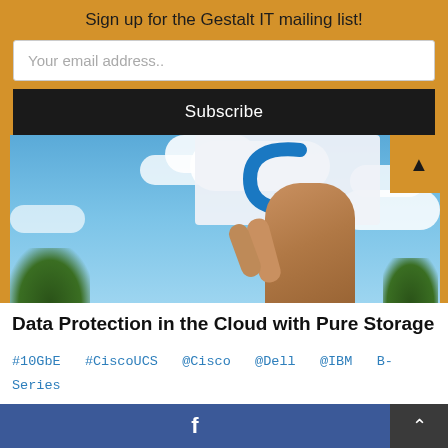Sign up for the Gestalt IT mailing list!
Your email address..
Subscribe
[Figure (photo): Photo of a hand holding a white card/paper with a Cisco C logo cutout against a blue sky with clouds and trees in background]
Data Protection in the Cloud with Pure Storage
#10GbE #CiscoUCS @Cisco @Dell @IBM B-Series blade C-Series DCE HP server
[Figure (other): Facebook share button bar (blue) with f icon, and a scroll-up dark grey button]